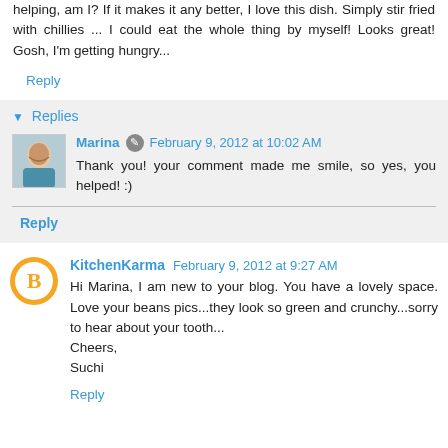helping, am I? If it makes it any better, I love this dish. Simply stir fried with chillies ... I could eat the whole thing by myself! Looks great! Gosh, I'm getting hungry...
Reply
Replies
Marina   February 9, 2012 at 10:02 AM
Thank you! your comment made me smile, so yes, you helped! :)
Reply
KitchenKarma   February 9, 2012 at 9:27 AM
Hi Marina, I am new to your blog. You have a lovely space. Love your beans pics...they look so green and crunchy...sorry to hear about your tooth... Cheers, Suchi
Reply